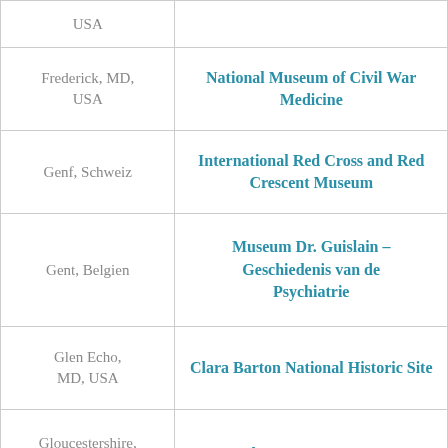| Location | Museum/Site |
| --- | --- |
| USA |  |
| Frederick, MD, USA | National Museum of Civil War Medicine |
| Genf, Schweiz | International Red Cross and Red Crescent Museum |
| Gent, Belgien | Museum Dr. Guislain – Geschiedenis van de Psychiatrie |
| Glen Echo, MD, USA | Clara Barton National Historic Site |
| Gloucestershire, UK | The Jenner Museum |
| Göteborg, Schweden | Medicinhistoriska museet – Medical History |